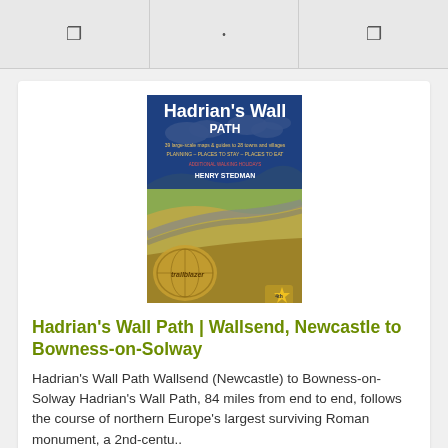[Figure (screenshot): Top navigation bar with three icon cells on grey background]
[Figure (photo): Book cover of 'Hadrian's Wall Path' by Henry Stedman, Trailblazer edition, showing landscape with wall, blue sky and rolling hills]
Hadrian's Wall Path | Wallsend, Newcastle to Bowness-on-Solway
Hadrian's Wall Path Wallsend (Newcastle) to Bowness-on-Solway Hadrian's Wall Path, 84 miles from end to end, follows the course of northern Europe's largest surviving Roman monument, a 2nd-centu..